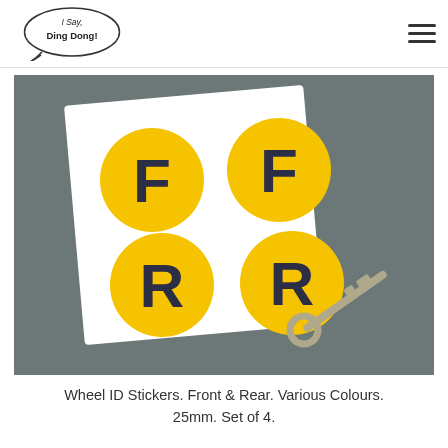I Say, Ding Dong! — navigation header with logo and hamburger menu
[Figure (photo): Product photo showing four round yellow stickers on a white sheet, each with a dark letter: two 'F' stickers (top row) and two 'R' stickers (bottom row), representing Front and Rear wheel identification stickers. A key is also partially visible at the bottom right.]
Wheel ID Stickers. Front & Rear. Various Colours. 25mm. Set of 4.